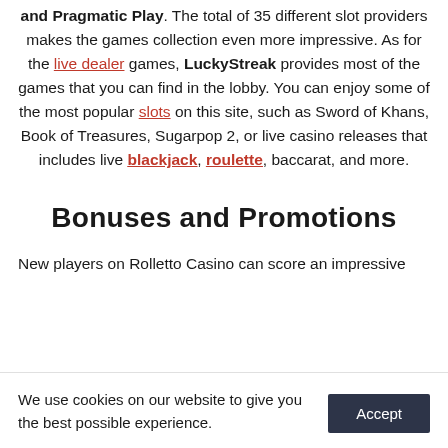and Pragmatic Play. The total of 35 different slot providers makes the games collection even more impressive. As for the live dealer games, LuckyStreak provides most of the games that you can find in the lobby. You can enjoy some of the most popular slots on this site, such as Sword of Khans, Book of Treasures, Sugarpop 2, or live casino releases that includes live blackjack, roulette, baccarat, and more.
Bonuses and Promotions
New players on Rolletto Casino can score an impressive
We use cookies on our website to give you the best possible experience. Accept